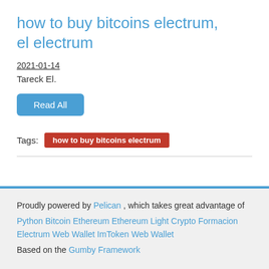how to buy bitcoins electrum, el electrum
2021-01-14
Tareck El.
Read All
Tags: how to buy bitcoins electrum
Proudly powered by Pelican , which takes great advantage of Python Bitcoin Ethereum Ethereum Light Crypto Formacion Electrum Web Wallet ImToken Web Wallet Based on the Gumby Framework